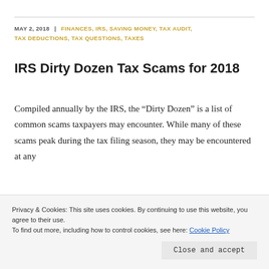MAY 2, 2018 | FINANCES, IRS, SAVING MONEY, TAX AUDIT, TAX DEDUCTIONS, TAX QUESTIONS, TAXES
IRS Dirty Dozen Tax Scams for 2018
Compiled annually by the IRS, the “Dirty Dozen” is a list of common scams taxpayers may encounter. While many of these scams peak during the tax filing season, they may be encountered at any
Privacy & Cookies: This site uses cookies. By continuing to use this website, you agree to their use.
To find out more, including how to control cookies, see here: Cookie Policy
Close and accept